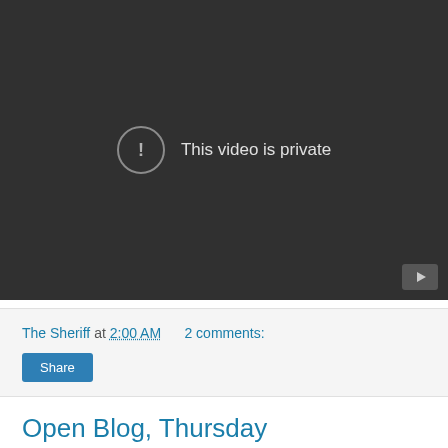[Figure (screenshot): YouTube video player showing 'This video is private' message with exclamation icon on dark background. YouTube logo button visible in bottom right corner.]
The Sheriff at 2:00 AM    2 comments:
Share
Open Blog, Thursday